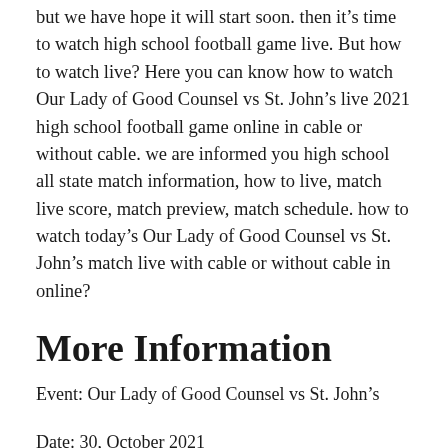but we have hope it will start soon. then it's time to watch high school football game live. But how to watch live? Here you can know how to watch Our Lady of Good Counsel vs St. John's live 2021 high school football game online in cable or without cable. we are informed you high school all state match information, how to live, match live score, match preview, match schedule. how to watch today's Our Lady of Good Counsel vs St. John's match live with cable or without cable in online?
More Information
Event: Our Lady of Good Counsel vs St. John's
Date: 30, October 2021
Time: tbd